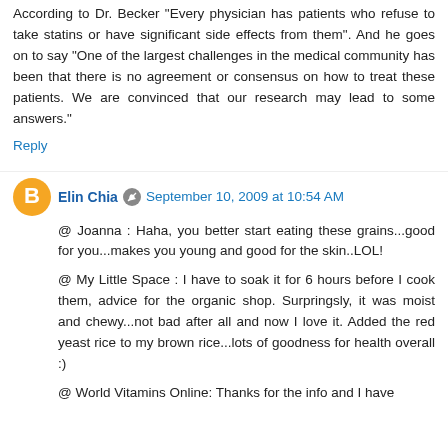According to Dr. Becker "Every physician has patients who refuse to take statins or have significant side effects from them". And he goes on to say "One of the largest challenges in the medical community has been that there is no agreement or consensus on how to treat these patients. We are convinced that our research may lead to some answers."
Reply
Elin Chia
September 10, 2009 at 10:54 AM
@ Joanna : Haha, you better start eating these grains...good for you...makes you young and good for the skin..LOL!
@ My Little Space : I have to soak it for 6 hours before I cook them, advice for the organic shop. Surpringsly, it was moist and chewy...not bad after all and now I love it. Added the red yeast rice to my brown rice...lots of goodness for health overall :)
@ World Vitamins Online: Thanks for the info and I have